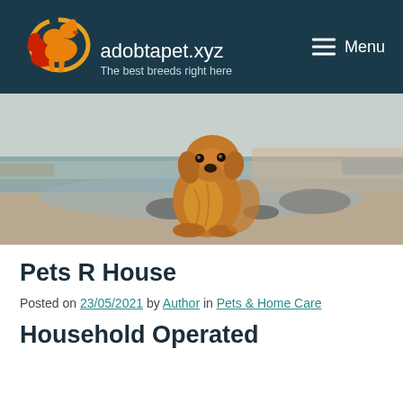adobtapet.xyz — The best breeds right here
[Figure (photo): A golden retriever dog sitting on a sandy beach near water, facing the camera, with rocks and a hazy shoreline in the background.]
Pets R House
Posted on 23/05/2021 by Author in Pets & Home Care
Household Operated